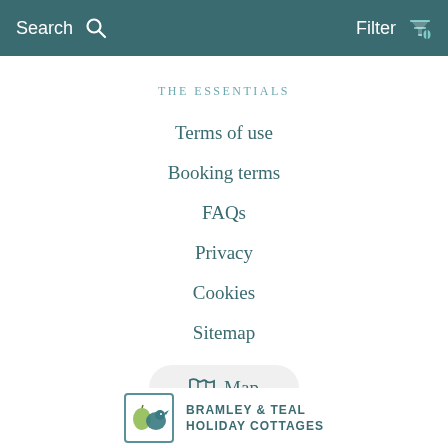Search   Filter
THE ESSENTIALS
Terms of use
Booking terms
FAQs
Privacy
Cookies
Sitemap
Map
[Figure (logo): Bramley & Teal Holiday Cottages logo with bird and apple icon]